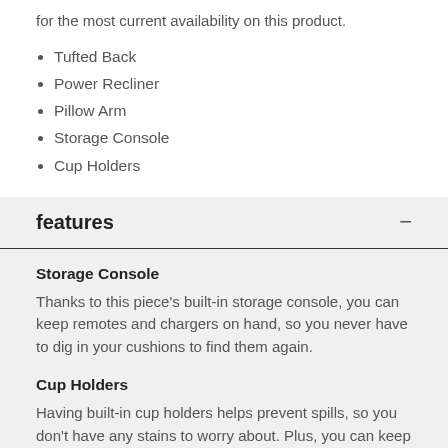for the most current availability on this product.
Tufted Back
Power Recliner
Pillow Arm
Storage Console
Cup Holders
features
Storage Console
Thanks to this piece's built-in storage console, you can keep remotes and chargers on hand, so you never have to dig in your cushions to find them again.
Cup Holders
Having built-in cup holders helps prevent spills, so you don't have any stains to worry about. Plus, you can keep your drink within reach as you enjoy watching TV.